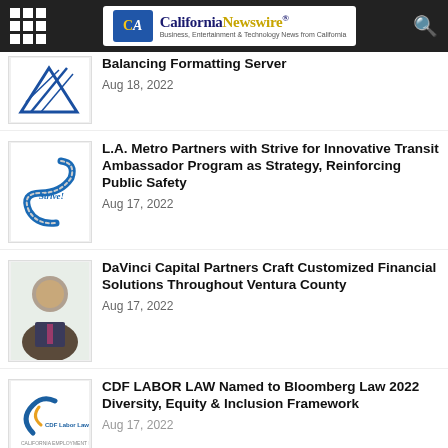California Newswire – Business, Entertainment & Technology News from California
Balancing Formatting Server
Aug 18, 2022
L.A. Metro Partners with Strive for Innovative Transit Ambassador Program as Strategy, Reinforcing Public Safety
Aug 17, 2022
DaVinci Capital Partners Craft Customized Financial Solutions Throughout Ventura County
Aug 17, 2022
CDF LABOR LAW Named to Bloomberg Law 2022 Diversity, Equity & Inclusion Framework
Aug 17, 2022